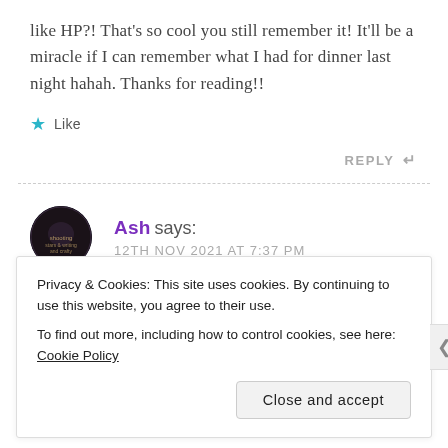like HP?! That's so cool you still remember it! It'll be a miracle if I can remember what I had for dinner last night hahah. Thanks for reading!!
★ Like
REPLY ↵
Ash says:
12TH NOV 2021 AT 7:37 PM
Privacy & Cookies: This site uses cookies. By continuing to use this website, you agree to their use.
To find out more, including how to control cookies, see here: Cookie Policy
Close and accept